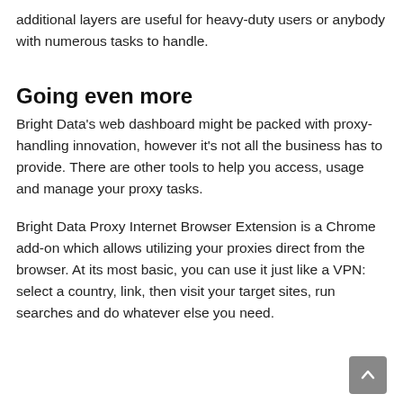additional layers are useful for heavy-duty users or anybody with numerous tasks to handle.
Going even more
Bright Data's web dashboard might be packed with proxy-handling innovation, however it's not all the business has to provide. There are other tools to help you access, usage and manage your proxy tasks.
Bright Data Proxy Internet Browser Extension is a Chrome add-on which allows utilizing your proxies direct from the browser. At its most basic, you can use it just like a VPN: select a country, link, then visit your target sites, run searches and do whatever else you need.